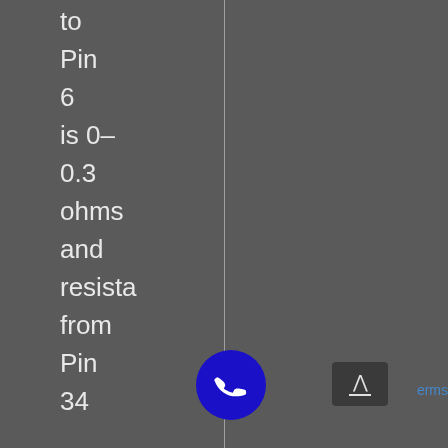to Pin 6 is 0–0.3 ohms and resista from Pin 34